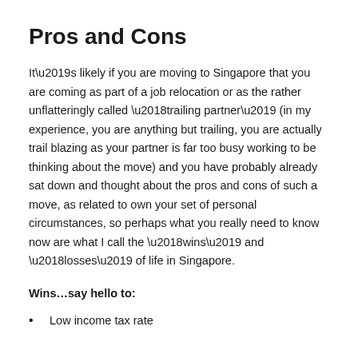Pros and Cons
It’s likely if you are moving to Singapore that you are coming as part of a job relocation or as the rather unflatteringly called ‘trailing partner’ (in my experience, you are anything but trailing, you are actually trail blazing as your partner is far too busy working to be thinking about the move) and you have probably already sat down and thought about the pros and cons of such a move, as related to own your set of personal circumstances, so perhaps what you really need to know now are what I call the ‘wins’ and ‘losses’ of life in Singapore.
Wins…say hello to:
Low income tax rate